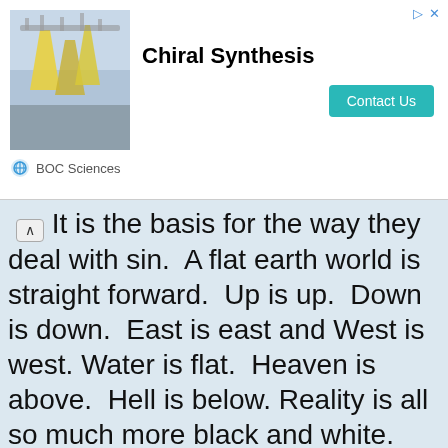[Figure (photo): Advertisement banner for BOC Sciences Chiral Synthesis with lab photo, title, and Contact Us button]
It is the basis for the way they deal with sin.  A flat earth world is straight forward.  Up is up.  Down is down.  East is east and West is west. Water is flat.  Heaven is above.  Hell is below. Reality is all so much more black and white.  On the other hand, with the globe you get options. Metaphysically, physically, even spiritually, everything is relative on a globe. You get east and west (good and bad) to actually meet in the back somewhere.  The direction "up" is truly